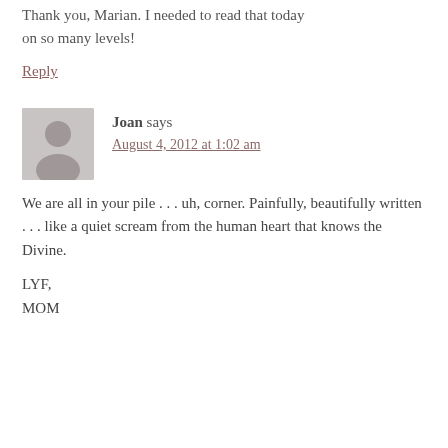Thank you, Marian. I needed to read that today on so many levels!
Reply
Joan says
August 4, 2012 at 1:02 am
We are all in your pile . . . uh, corner. Painfully, beautifully written . . . like a quiet scream from the human heart that knows the Divine.
LYF,
MOM